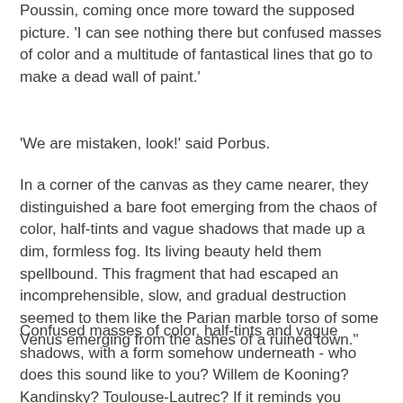Poussin, coming once more toward the supposed picture. 'I can see nothing there but confused masses of color and a multitude of fantastical lines that go to make a dead wall of paint.'
'We are mistaken, look!' said Porbus.
In a corner of the canvas as they came nearer, they distinguished a bare foot emerging from the chaos of color, half-tints and vague shadows that made up a dim, formless fog. Its living beauty held them spellbound. This fragment that had escaped an incomprehensible, slow, and gradual destruction seemed to them like the Parian marble torso of some Venus emerging from the ashes of a ruined town."
Confused masses of color, half-tints and vague shadows, with a form somehow underneath - who does this sound like to you? Willem de Kooning? Kandinsky? Toulouse-Lautrec? If it reminds you somehow of Cézanne, at least one great artist agrees with you - Paul Cézanne. "Frenhofer, c'est moi!" he supposedly declared, between sobs, when his art dealer